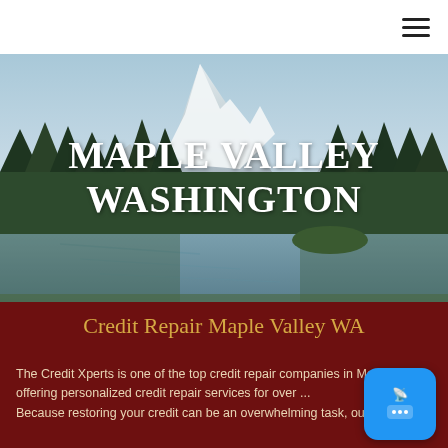Navigation bar with hamburger menu icon
[Figure (photo): Scenic landscape photo of Maple Valley Washington area showing a snow-capped mountain (Mt. Rainier) in the background, pine trees, and a calm lake or river in the foreground with reflections.]
MAPLE VALLEY WASHINGTON
Credit Repair Maple Valley WA
The Credit Xperts is one of the top credit repair companies in Maple Valley, offering personalized credit repair services for over ... Because restoring your credit can be an overwhelming task, our ...